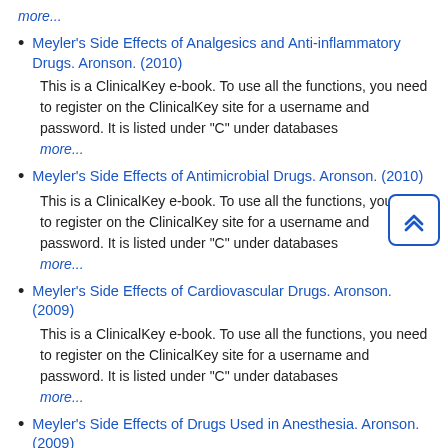more...
Meyler's Side Effects of Analgesics and Anti-inflammatory Drugs. Aronson. (2010)
This is a ClinicalKey e-book. To use all the functions, you need to register on the ClinicalKey site for a username and password. It is listed under "C" under databases
more...
Meyler's Side Effects of Antimicrobial Drugs. Aronson. (2010)
This is a ClinicalKey e-book. To use all the functions, you need to register on the ClinicalKey site for a username and password. It is listed under "C" under databases
more...
Meyler's Side Effects of Cardiovascular Drugs. Aronson. (2009)
This is a ClinicalKey e-book. To use all the functions, you need to register on the ClinicalKey site for a username and password. It is listed under "C" under databases
more...
Meyler's Side Effects of Drugs Used in Anesthesia. Aronson. (2009)
This is a ClinicalKey e-book. To use all the functions, you need to